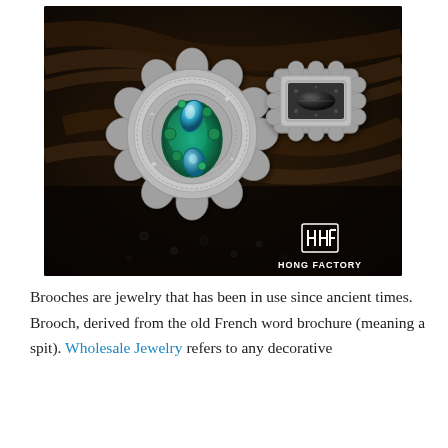[Figure (photo): Product photo of two ornate silver brooches with gemstones on dark wood background. Left brooch is large, oval/flower-shaped with teal and blue gemstones. Right brooch is smaller, rectangular with black marquise center stone. Hong Factory logo (HHF) and 'HONG FACTORY SINCE 1971' text appear in bottom-right corner of photo.]
Brooches are jewelry that has been in use since ancient times. Brooch, derived from the old French word brochure (meaning a spit). Wholesale Jewelry refers to any decorative